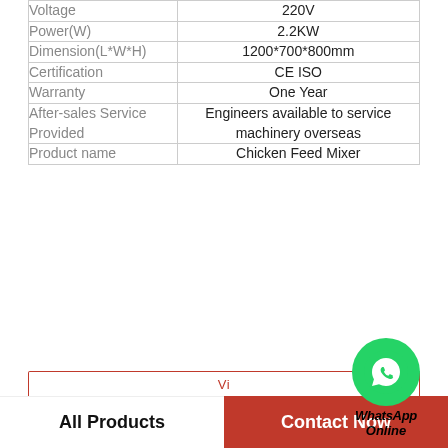| Attribute | Value |
| --- | --- |
| Voltage | 220V |
| Power(W) | 2.2KW |
| Dimension(L*W*H) | 1200*700*800mm |
| Certification | CE ISO |
| Warranty | One Year |
| After-sales Service Provided | Engineers available to service machinery overseas |
| Product name | Chicken Feed Mixer |
[Figure (logo): WhatsApp Online green logo bubble with text 'WhatsApp Online']
All Products
Contact Now